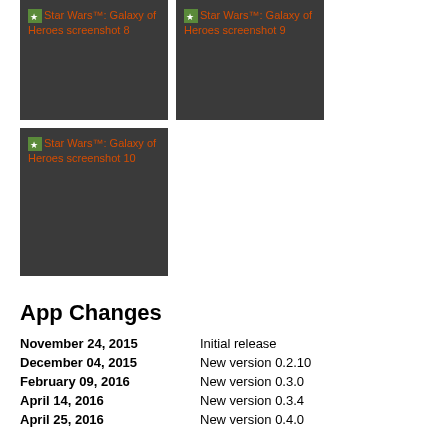[Figure (screenshot): Star Wars™: Galaxy of Heroes screenshot 8 - dark background placeholder image]
[Figure (screenshot): Star Wars™: Galaxy of Heroes screenshot 9 - dark background placeholder image]
[Figure (screenshot): Star Wars™: Galaxy of Heroes screenshot 10 - dark background placeholder image]
App Changes
November 24, 2015    Initial release
December 04, 2015    New version 0.2.10
February 09, 2016    New version 0.3.0
April 14, 2016    New version 0.3.4
April 25, 2016    New version 0.4.0